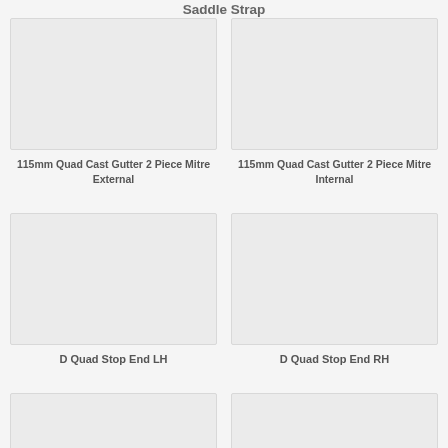Saddle Strap
[Figure (photo): Product image placeholder for 115mm Quad Cast Gutter 2 Piece Mitre External]
115mm Quad Cast Gutter 2 Piece Mitre External
[Figure (photo): Product image placeholder for 115mm Quad Cast Gutter 2 Piece Mitre Internal]
115mm Quad Cast Gutter 2 Piece Mitre Internal
[Figure (photo): Product image placeholder for D Quad Stop End LH]
D Quad Stop End LH
[Figure (photo): Product image placeholder for D Quad Stop End RH]
D Quad Stop End RH
[Figure (photo): Product image placeholder (bottom left, partial)]
[Figure (photo): Product image placeholder (bottom right, partial)]